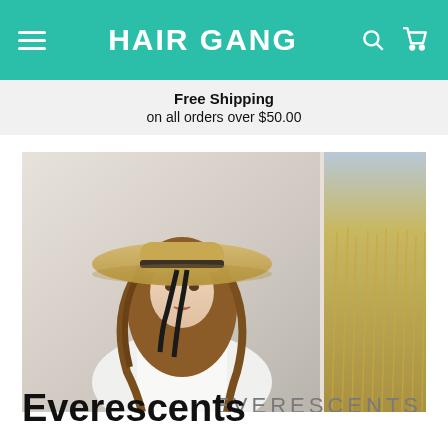HAIR GANG
Free Shipping on all orders over $50.00
[Figure (photo): Banner image showing a woman wearing a wide-brim straw hat with a black ribbon, white outfit, with long wavy brown hair, alongside a field of wheat. Overlaid with the EVERESCENTS brand name and a horizontal line.]
Everescents